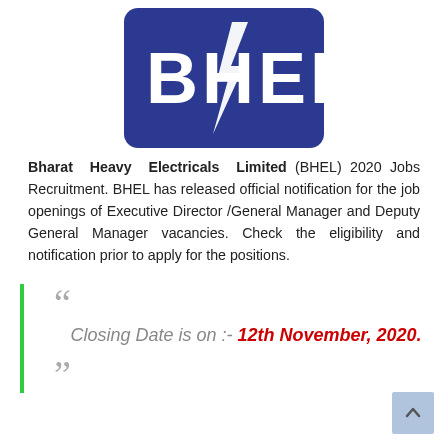[Figure (logo): BHEL (Bharat Heavy Electricals Limited) logo — white text 'BHEL' with a lightning bolt, on a dark blue rounded rectangle background]
Bharat Heavy Electricals Limited (BHEL) 2020 Jobs Recruitment. BHEL has released official notification for the job openings of Executive Director /General Manager and Deputy General Manager vacancies. Check the eligibility and notification prior to apply for the positions.
Closing Date is on :- 12th November, 2020.